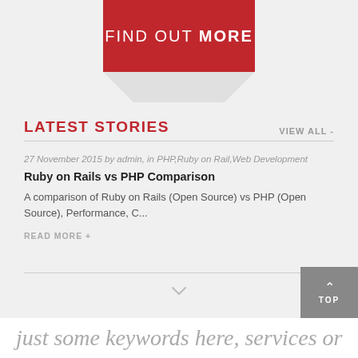[Figure (other): Red banner button with 'FIND OUT MORE' text and folded paper effect below]
LATEST STORIES
VIEW ALL -
27 November 2015 by admin, in PHP,Ruby on Rail,Web Development
Ruby on Rails vs PHP Comparison
A comparison of Ruby on Rails (Open Source) vs PHP (Open Source), Performance, C...
READ MORE +
just some keywords here, services or